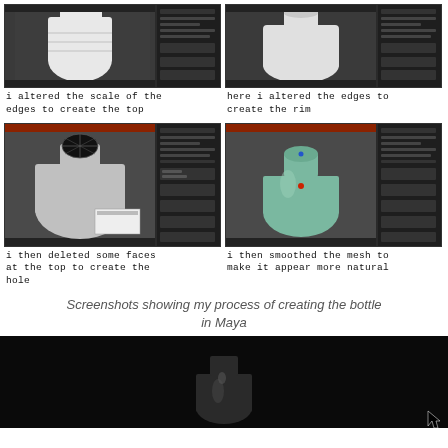[Figure (screenshot): 3D modeling screenshot in Maya showing a bottle shape, scale adjustment for top edges]
i altered the scale of the edges to create the top
[Figure (screenshot): 3D modeling screenshot in Maya showing bottle neck/rim, edges altered to create the rim]
here i altered the edges to create the rim
[Figure (screenshot): 3D modeling screenshot in Maya showing bottle with hole at top, faces deleted to create the hole]
i then deleted some faces at the top to create the hole
[Figure (screenshot): 3D modeling screenshot in Maya showing smoothed bottle mesh in green color]
i then smoothed the mesh to make it appear more natural
Screenshots showing my process of creating the bottle in Maya
[Figure (screenshot): Dark render showing a 3D bottle model against black background]